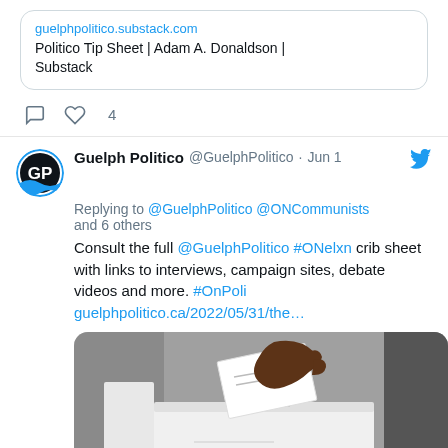guelphpolitico.substack.com
Politico Tip Sheet | Adam A. Donaldson | Substack
♡ 4
Guelph Politico @GuelphPolitico · Jun 1
Replying to @GuelphPolitico @ONCommunists and 6 others
Consult the full @GuelphPolitico #ONelxn crib sheet with links to interviews, campaign sites, debate videos and more. #OnPoli guelphpolitico.ca/2022/05/31/the…
[Figure (photo): A hand inserting a ballot into a white ballot box, photographed against a grey background.]